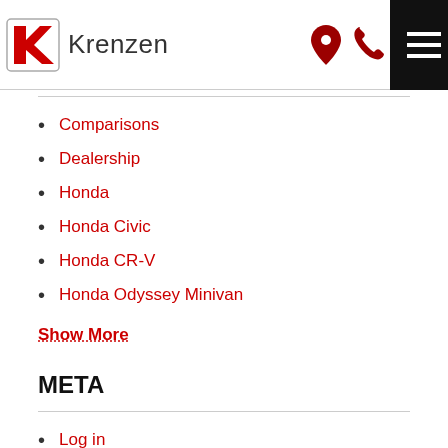Krenzen
Comparisons
Dealership
Honda
Honda Civic
Honda CR-V
Honda Odyssey Minivan
Show More
META
Log in